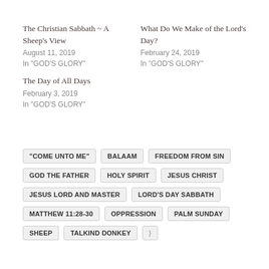The Christian Sabbath ~ A Sheep's View
August 11, 2019
In "GOD'S GLORY"
What Do We Make of the Lord's Day?
February 24, 2019
In "GOD'S GLORY"
The Day of All Days
February 3, 2019
In "GOD'S GLORY"
"COME UNTO ME"
BALAAM
FREEDOM FROM SIN
GOD THE FATHER
HOLY SPIRIT
JESUS CHRIST
JESUS LORD AND MASTER
LORD'S DAY SABBATH
MATTHEW 11:28-30
OPPRESSION
PALM SUNDAY
SHEEP
TALKIND DONKEY
}